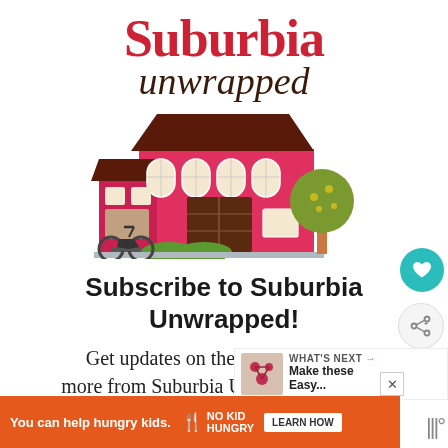Suburbia unwrapped
[Figure (illustration): Colorful illustration of a suburban house with dark red roof, pink/red walls, arched windows, double garage doors, a motorcycle parked to the left, green bushes along the front, and a green tree with yellow dots to the right.]
Subscribe to Suburbia Unwrapped!
Get updates on the latest posts and more from Suburbia Unwrapped straight
[Figure (infographic): What's Next promo box with thumbnail image and text: WHAT'S NEXT → Make these Easy...]
[Figure (infographic): Advertisement banner: You can help hungry kids. NO KID HUNGRY [LEARN HOW] with orange background and close button.]